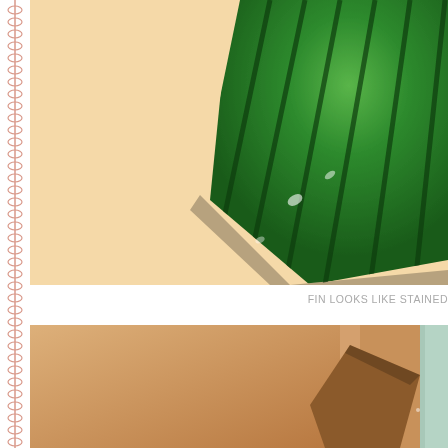[Figure (photo): Close-up photo of a dark green ribbed/ridged fan or fin-like ceramic or plastic object against a warm peach/cream background. The object has parallel grooves running along its surface and appears shiny/glazed.]
FIN LOOKS LIKE STAINED
[Figure (photo): Close-up photo of a warm tan/caramel colored flat surface with a darker brown angular object (possibly a wedge or fragment) and a pale mint/teal colored surface visible at the right edge.]